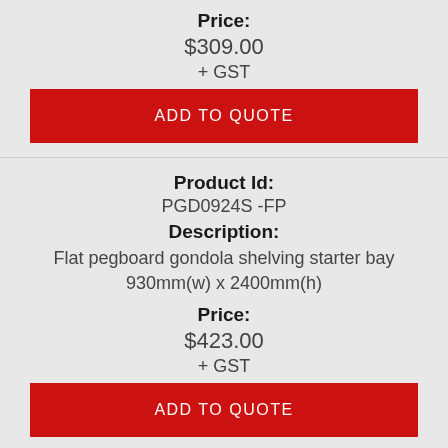Price: $309.00 + GST
ADD TO QUOTE
Product Id: PGD0924S -FP
Description: Flat pegboard gondola shelving starter bay 930mm(w) x 2400mm(h)
Price: $423.00 + GST
ADD TO QUOTE
Product Id: PGD0924A -FP